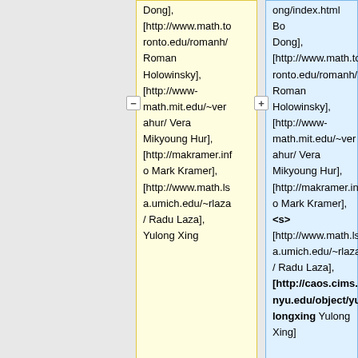Dong], [http://www.math.toronto.edu/romanh/ Roman Holowinsky], [http://www-math.mit.edu/~verahur/ Vera Mikyoung Hur], [http://makramer.info Mark Kramer], [http://www.math.lsa.umich.edu/~rlaza/ Radu Laza], Yulong Xing
ong/index.html Bo Dong]</s>, [http://www.math.toronto.edu/romanh/ Roman Holowinsky], [http://www-math.mit.edu/~verahur/ Vera Mikyoung Hur], [http://makramer.info Mark Kramer], <s> [http://www.math.lsa.umich.edu/~rlaza/ Radu Laza]</s>, [http://caos.cims.nyu.edu/object/yulongxing Yulong Xing]
|- valign=top
|- valign=top
|
|